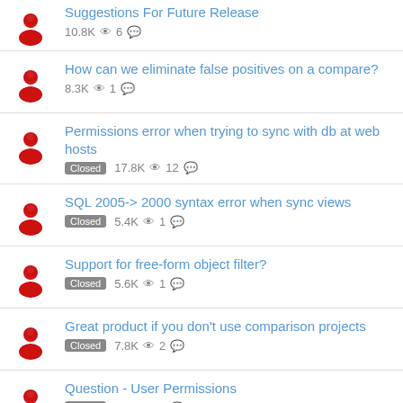Suggestions For Future Release — 10.8K views, 6 comments
How can we eliminate false positives on a compare? — 8.3K views, 1 comment
Permissions error when trying to sync with db at web hosts — Closed — 17.8K views, 12 comments
SQL 2005-&gt; 2000 syntax error when sync views — Closed — 5.4K views, 1 comment
Support for free-form object filter? — Closed — 5.6K views, 1 comment
Great product if you don't use comparison projects — Closed — 7.8K views, 2 comments
Question - User Permissions — Closed — 5.6K views, 1 comment
Feature Request - Rename Columns — Closed — 6K views, 1 comment
Poor Grammar in &quot;The database updated...